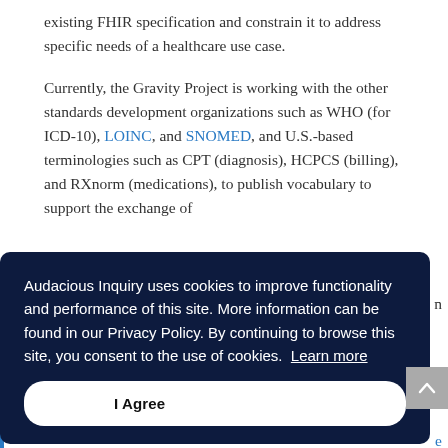existing FHIR specification and constrain it to address specific needs of a healthcare use case.
Currently, the Gravity Project is working with the other standards development organizations such as WHO (for ICD-10), LOINC, and SNOMED, and U.S.-based terminologies such as CPT (diagnosis), HCPCS (billing), and RXnorm (medications), to publish vocabulary to support the exchange of
[Figure (screenshot): Cookie consent banner overlay with dark navy background. Text reads: 'Audacious Inquiry uses cookies to improve functionality and performance of this site. More information can be found in our Privacy Policy. By continuing to browse this site, you consent to the use of cookies. Learn more'. White 'I Agree' button at bottom center.]
screening, clinical assessment/diagnosis, goal